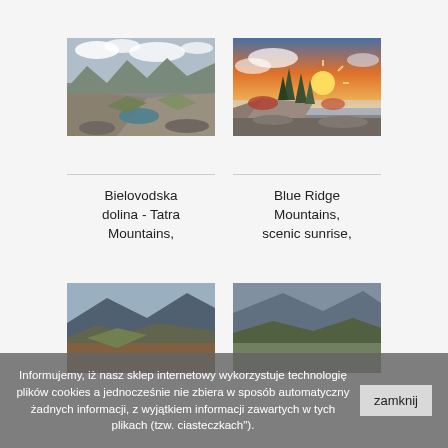[Figure (photo): Mountain valley with lake - Bielovodska dolina, Tatra Mountains]
[Figure (photo): Blue Ridge Mountains scenic sunrise with trees and colorful sky]
Bielovodska dolina - Tatra Mountains,
Blue Ridge Mountains, scenic sunrise,
[Figure (photo): Partially visible mountain landscape at bottom]
Informujemy, iż nasz sklep internetowy wykorzystuje technologię plików cookies a jednocześnie nie zbiera w sposób automatyczny żadnych informacji, z wyjątkiem informacji zawartych w tych plikach (tzw. ciasteczkach").